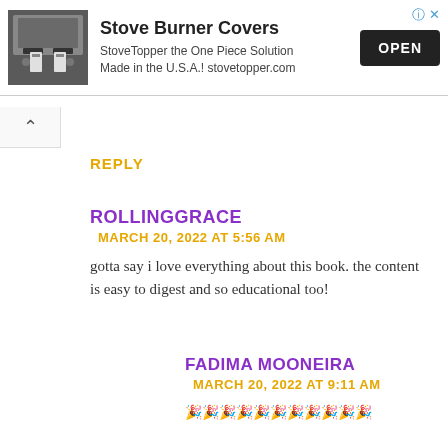[Figure (screenshot): Advertisement banner for Stove Burner Covers by StoveTopper showing a stove image, product title, description, and OPEN button]
REPLY
ROLLINGGRACE
MARCH 20, 2022 AT 5:56 AM
gotta say i love everything about this book. the content is easy to digest and so educational too!
FADIMA MOONEIRA
MARCH 20, 2022 AT 9:11 AM
🎉🎉🎉🎉🎉🎉🎉🎉🎉🎉🎉
REPLY
RAJI  MARCH 20, 2022 AT 7:02 AM